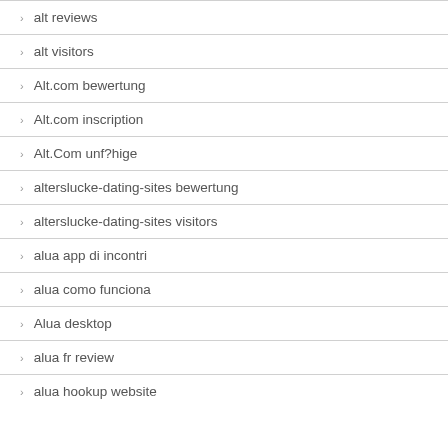alt reviews
alt visitors
Alt.com bewertung
Alt.com inscription
Alt.Com unf?hige
alterslucke-dating-sites bewertung
alterslucke-dating-sites visitors
alua app di incontri
alua como funciona
Alua desktop
alua fr review
alua hookup website